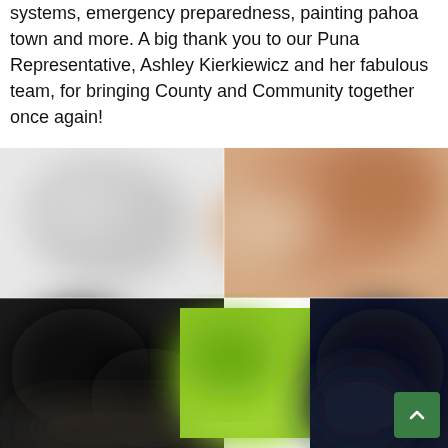systems, emergency preparedness, painting pahoa town and more. A big thank you to our Puna Representative, Ashley Kierkiewicz and her fabulous team, for bringing County and Community together once again!
[Figure (photo): Blurred group photos showing people at a community event, arranged in a 2x2 grid collage. Photos are blurred/obscured for privacy.]